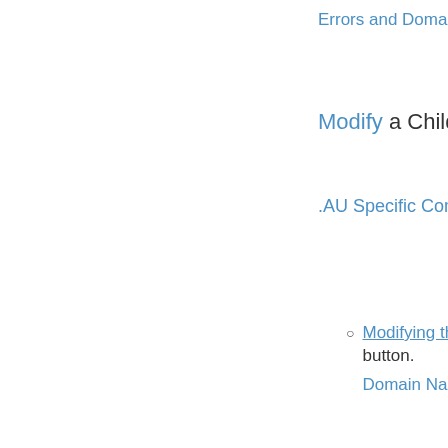Errors and Domain N
Modify a Child Nam
.AU Specific Conditio
Modifying the H button. Domain Name E
Modifying the IP button. Errors, IPv6 Form
Delete a Child Nam
Click the Delete link t
Errors and Restrictio